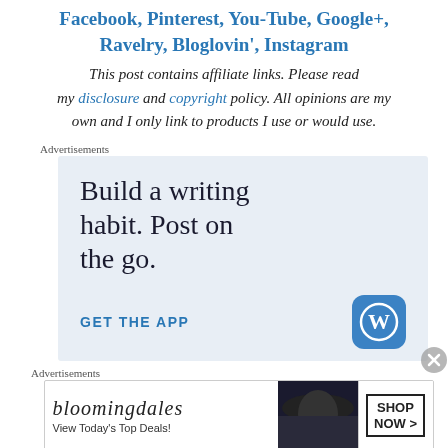Facebook, Pinterest, You-Tube, Google+, Ravelry, Bloglovin', Instagram
This post contains affiliate links. Please read my disclosure and copyright policy. All opinions are my own and I only link to products I use or would use.
Advertisements
[Figure (screenshot): Advertisement banner for WordPress app: 'Build a writing habit. Post on the go. GET THE APP' with WordPress logo]
Advertisements
[Figure (screenshot): Bloomingdale's advertisement banner: 'View Today's Top Deals!' with SHOP NOW > button]